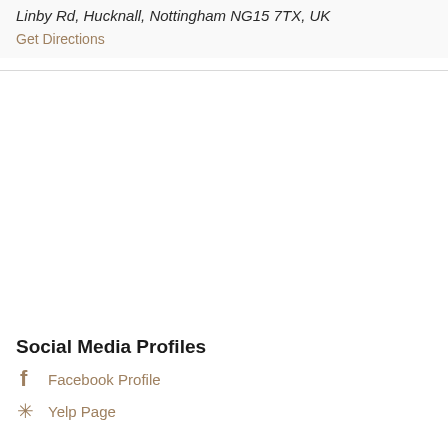Linby Rd, Hucknall, Nottingham NG15 7TX, UK
Get Directions
Social Media Profiles
Facebook Profile
Yelp Page